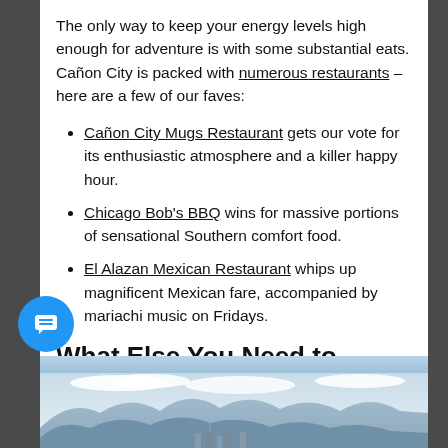The only way to keep your energy levels high enough for adventure is with some substantial eats. Cañon City is packed with numerous restaurants – here are a few of our faves:
Cañon City Mugs Restaurant gets our vote for its enthusiastic atmosphere and a killer happy hour.
Chicago Bob's BBQ wins for massive portions of sensational Southern comfort food.
El Alazan Mexican Restaurant whips up magnificent Mexican fare, accompanied by mariachi music on Fridays.
What Else You Need to Know
[Figure (photo): Mountain landscape with blue sky and clouds, city buildings visible at bottom]